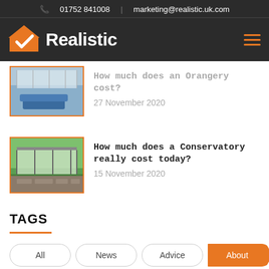01752 841008 | marketing@realistic.uk.com
[Figure (logo): Realistic company logo with orange house icon and white text]
How much does an Orangery cost? 27 November 2020
How much does a Conservatory really cost today? 15 November 2020
TAGS
All
News
Advice
About